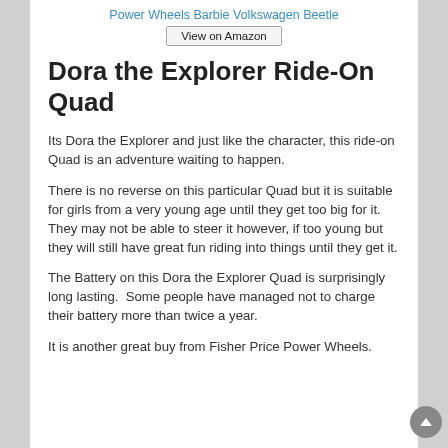Power Wheels Barbie Volkswagen Beetle
View on Amazon
Dora the Explorer Ride-On Quad
Its Dora the Explorer and just like the character, this ride-on Quad is an adventure waiting to happen.
There is no reverse on this particular Quad but it is suitable for girls from a very young age until they get too big for it.  They may not be able to steer it however, if too young but they will still have great fun riding into things until they get it.
The Battery on this Dora the Explorer Quad is surprisingly long lasting.  Some people have managed not to charge their battery more than twice a year.
It is another great buy from Fisher Price Power Wheels.